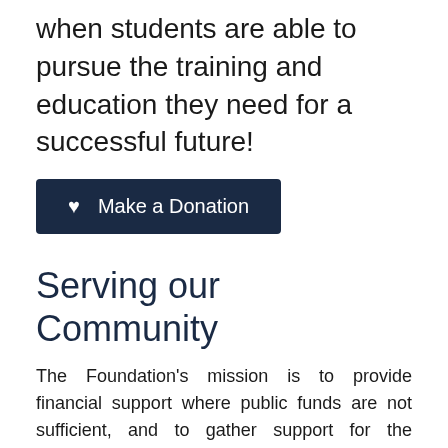when students are able to pursue the training and education they need for a successful future!
[Figure (other): Dark navy blue button with heart icon and text 'Make a Donation']
Serving our Community
The Foundation's mission is to provide financial support where public funds are not sufficient, and to gather support for the enhancement of educational opportunities at Lower Columbia College.
The Foundation works to advance the mission of providing financial assistance to students, encouraging public support for the college, and strengthening the teaching, learning and cultural environment of the college and our community.